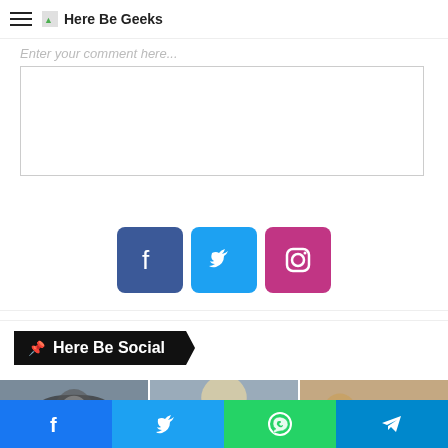Here Be Geeks
Enter your comment here...
[Figure (other): Comment text input box]
[Figure (other): Social media icon buttons: Facebook (blue), Twitter (cyan), Instagram (pink/magenta)]
Here Be Social
[Figure (photo): Three cosplay photos side by side: person in wide-brim hat, person with blonde hair, group of people at event]
[Figure (other): Bottom share bar with Facebook, Twitter, WhatsApp, Telegram icons]